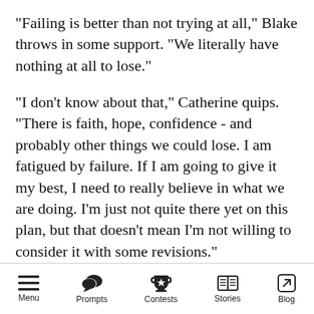"Failing is better than not trying at all," Blake throws in some support. "We literally have nothing at all to lose."
"I don't know about that," Catherine quips. "There is faith, hope, confidence - and probably other things we could lose. I am fatigued by failure. If I am going to give it my best, I need to really believe in what we are doing. I'm just not quite there yet on this plan, but that doesn't mean I'm not willing to consider it with some revisions."
"What kind of revisions?" Shara asks defensively.
Menu | Prompts | Contests | Stories | Blog